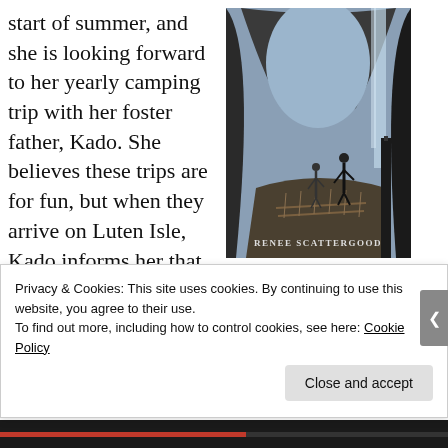start of summer, and she is looking forward to her yearly camping trip with her foster father, Kado. She believes these trips are for fun, but when they arrive on Luten Isle, Kado informs her that she is a shadow stalker, and she is in training.
[Figure (illustration): Book cover illustration showing two figures standing on a rope bridge inside a large cave with a waterfall, authored by Renee Scattergood]
One morning, Auren decides to take her training into
Privacy & Cookies: This site uses cookies. By continuing to use this website, you agree to their use.
To find out more, including how to control cookies, see here: Cookie Policy